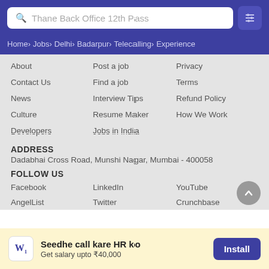Thane Back Office 12th Pass
Home › Jobs › Delhi › Badarpur › Telecalling › Experience
About
Post a job
Privacy
Contact Us
Find a job
Terms
News
Interview Tips
Refund Policy
Culture
Resume Maker
How We Work
Developers
Jobs in India
ADDRESS
Dadabhai Cross Road, Munshi Nagar, Mumbai - 400058
FOLLOW US
Facebook
LinkedIn
YouTube
AngelList
Twitter
Crunchbase
Seedhe call kare HR ko
Get salary upto ₹40,000